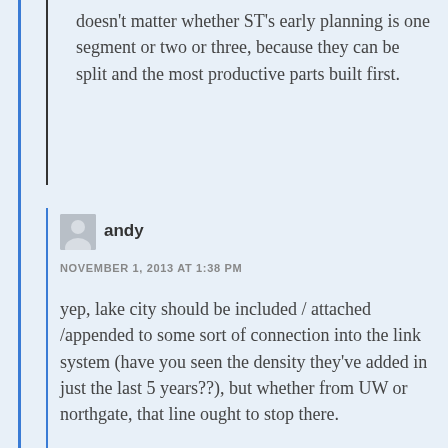doesn't matter whether ST's early planning is one segment or two or three, because they can be split and the most productive parts built first.
andy
NOVEMBER 1, 2013 AT 1:38 PM
yep, lake city should be included / attached /appended to some sort of connection into the link system (have you seen the density they've added in just the last 5 years??), but whether from UW or northgate, that line ought to stop there.